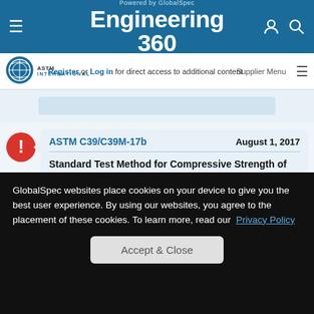Powered by GlobalSpec Engineering 360
Register or Log in for direct access to additional content
[Figure (logo): ASTM International logo]
Supplier Menu
ASTM C39/C39M-17b   August 1, 2017
Standard Test Method for Compressive Strength of Cylindrical Concrete Specimens
1.1 This test method covers determination of compressive strength of cylindrical concrete
GlobalSpec websites place cookies on your device to give you the best user experience. By using our websites, you agree to the placement of these cookies. To learn more, read our Privacy Policy
Accept & Close